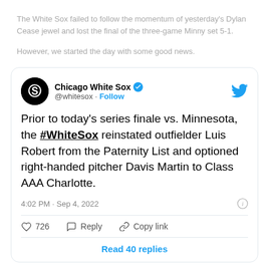The White Sox failed to follow the momentum of yesterday's Dylan Cease jewel and lost the final of the three-game Minny set 5-1.
However, we started the day with some good news.
[Figure (screenshot): Embedded tweet from Chicago White Sox (@whitesox) dated 4:02 PM · Sep 4, 2022. Tweet text: Prior to today's series finale vs. Minnesota, the #WhiteSox reinstated outfielder Luis Robert from the Paternity List and optioned right-handed pitcher Davis Martin to Class AAA Charlotte. Shows 726 likes, Reply, Copy link actions, and Read 40 replies button.]